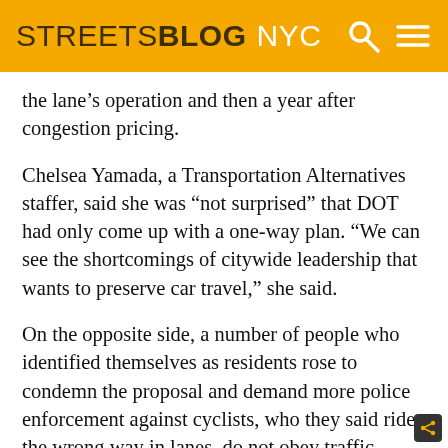STREETSBLOG NYC
the lane’s operation and then a year after congestion pricing.
Chelsea Yamada, a Transportation Alternatives staffer, said she was “not surprised” that DOT had only come up with a one-way plan. “We can see the shortcomings of citywide leadership that wants to preserve car travel,” she said.
On the opposite side, a number of people who identified themselves as residents rose to condemn the proposal and demand more police enforcement against cyclists, who they said ride the wrong way in lanes, do not obey traffic lights, and commit other infractions.